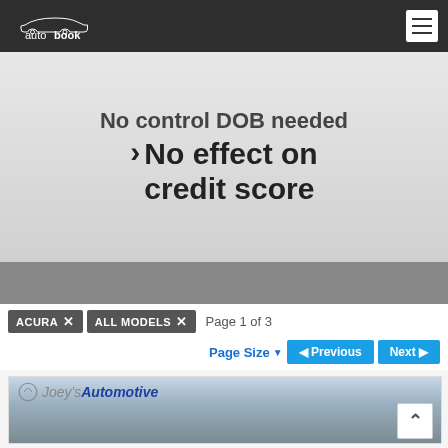autobook
[Figure (screenshot): Autobook website screenshot showing a hero banner with 'No control DOB needed > No effect on credit score' text, filter tags for ACURA and ALL MODELS, pagination controls showing Page 1 of 3, and a dealer card for Joey's Automotive]
No control DOB needed
> No effect on credit score
ACURA ×
ALL MODELS ×
Page 1 of 3
Page Size ▼
◄ Previous
Next ►
[Figure (photo): Exterior photo of Joey's Automotive dealership building with signage visible]